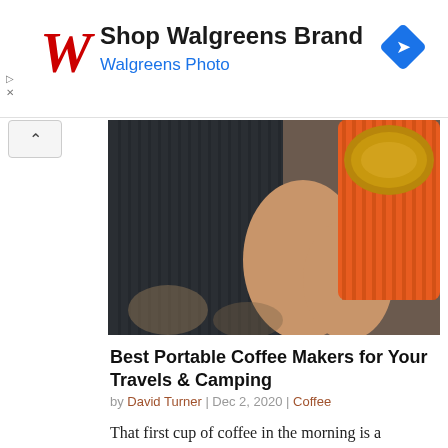[Figure (logo): Walgreens ad banner with logo, 'Shop Walgreens Brand', 'Walgreens Photo' subtitle, and blue diamond navigation icon]
[Figure (photo): Close-up photo of hands holding a dark ribbed portable coffee maker device next to an orange ribbed cup containing coffee/espresso]
Best Portable Coffee Makers for Your Travels & Camping
by David Turner | Dec 2, 2020 | Coffee
That first cup of coffee in the morning is a glorious thing. And if you're here reading this, the chances are that you agree!  The beautiful